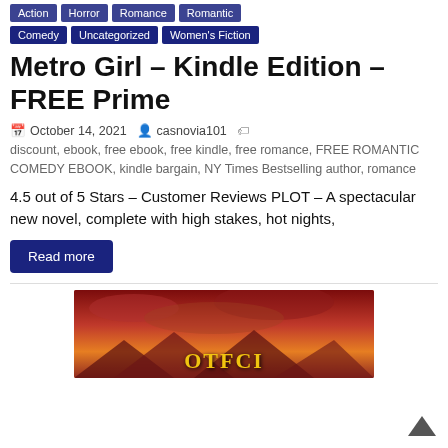Action, Horror, Romance, Romantic, Comedy, Uncategorized, Women's Fiction
Metro Girl – Kindle Edition – FREE Prime
October 14, 2021   casnovia101   discount, ebook, free ebook, free kindle, free romance, FREE ROMANTIC COMEDY EBOOK, kindle bargain, NY Times Bestselling author, romance
4.5 out of 5 Stars – Customer Reviews PLOT – A spectacular new novel, complete with high stakes, hot nights,
Read more
[Figure (photo): Book cover image with orange/red fiery background and yellow text reading OTFCI]